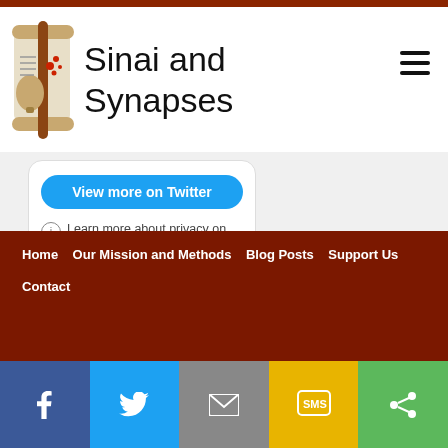Sinai and Synapses
[Figure (screenshot): Twitter widget showing 'View more on Twitter' button and 'Learn more about privacy on Twitter' link with info icon]
[Figure (illustration): Print icon (printer graphic) with 'Print This Post' label below]
Home | Our Mission and Methods | Blog Posts | Support Us | Contact
[Figure (infographic): Social share bar with Facebook, Twitter, Email, SMS, and Share buttons]